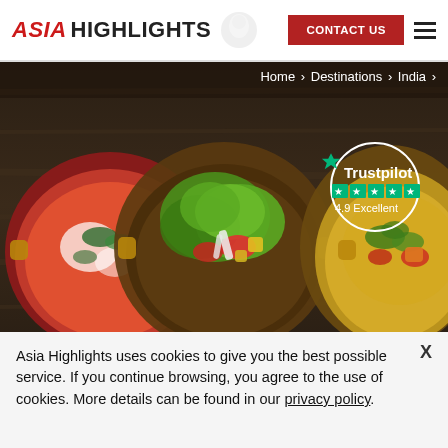ASIA HIGHLIGHTS
CONTACT US
Home › Destinations › India ›
[Figure (photo): Three Indian food dishes in metal bowls on a dark wooden table: a red curry, a fresh salad with vegetables, and a yellow vegetable dish, viewed from above.]
Asia Highlights uses cookies to give you the best possible service. If you continue browsing, you agree to the use of cookies. More details can be found in our privacy policy.